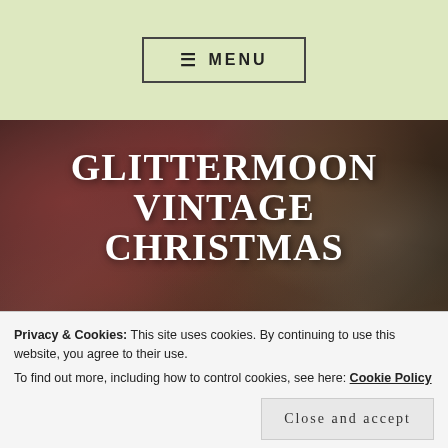≡ MENU
[Figure (photo): A background of vintage Christmas ornaments — red, green, gold, and pearl baubles clustered together on a dark surface, serving as the hero background for the Glittermoon Vintage Christmas website.]
GLITTERMOON VINTAGE CHRISTMAS
Recycling memories from Christmas past. Unique designs made from ornaments of yesteryear. With
Privacy & Cookies: This site uses cookies. By continuing to use this website, you agree to their use.
To find out more, including how to control cookies, see here: Cookie Policy
Close and accept